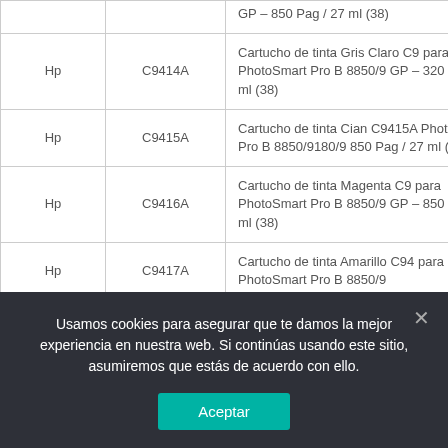| Brand | Model | Description |
| --- | --- | --- |
| Hp | C9414A | Cartucho de tinta Gris Claro C9 para PhotoSmart Pro B 8850/9 GP – 320 Pag / 27 ml (38) |
| Hp | C9415A | Cartucho de tinta Cian C9415A PhotoSmart Pro B 8850/9180/9 850 Pag / 27 ml (38) |
| Hp | C9416A | Cartucho de tinta Magenta C9 para PhotoSmart Pro B 8850/9 GP – 850 Pag / 27 ml (38) |
| Hp | C9417A | Cartucho de tinta Amarillo C94 para PhotoSmart Pro B 8850/9 |
Usamos cookies para asegurar que te damos la mejor experiencia en nuestra web. Si continúas usando este sitio, asumiremos que estás de acuerdo con ello.